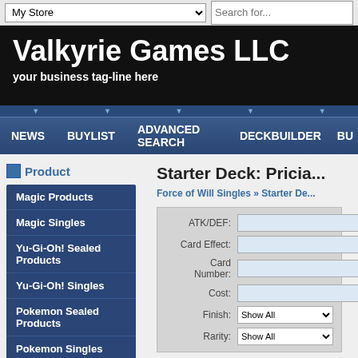My Store | Search for...
Valkyrie Games LLC
your business tag-line here
NEWS | BUYLIST | ADVANCED SEARCH | DECKBUILDER | BU...
Product
Magic Products
Magic Singles
Yu-Gi-Oh! Sealed Products
Yu-Gi-Oh! Singles
Pokemon Sealed Products
Pokemon Singles
Dragon Ball Super TCG
Starter Deck: Pricia...
Force of Will Singles » Starter De...
| Field | Value |
| --- | --- |
| ATK/DEF: |  |
| Card Effect: |  |
| Card Number: |  |
| Cost: |  |
| Finish: | Show All |
| Rarity: | Show All |